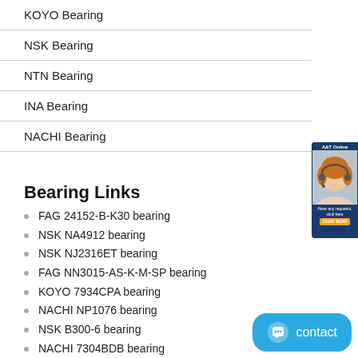KOYO Bearing
NSK Bearing
NTN Bearing
INA Bearing
NACHI Bearing
[Figure (photo): Customer service advisor widget showing a woman with headset]
Bearing Links
FAG 24152-B-K30 bearing
NSK NA4912 bearing
NSK NJ2316ET bearing
FAG NN3015-AS-K-M-SP bearing
KOYO 7934CPA bearing
NACHI NP1076 bearing
NSK B300-6 bearing
NACHI 7304BDB bearing
NSK B23-7UR bearing
KOYO 665/653 bearing
[Figure (other): Blue contact chat widget button]